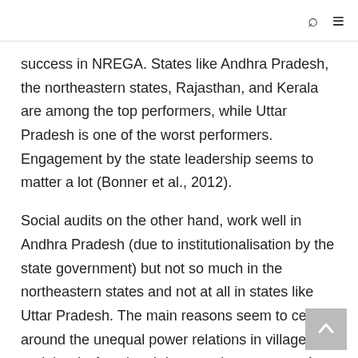🔍 ≡
success in NREGA. States like Andhra Pradesh, the northeastern states, Rajasthan, and Kerala are among the top performers, while Uttar Pradesh is one of the worst performers. Engagement by the state leadership seems to matter a lot (Bonner et al., 2012).
Social audits on the other hand, work well in Andhra Pradesh (due to institutionalisation by the state government) but not so much in the northeastern states and not at all in states like Uttar Pradesh. The main reasons seem to centre around the unequal power relations in villages and the dysfunctional democratic structures. As expected, the worst performing states are those with higher inherited